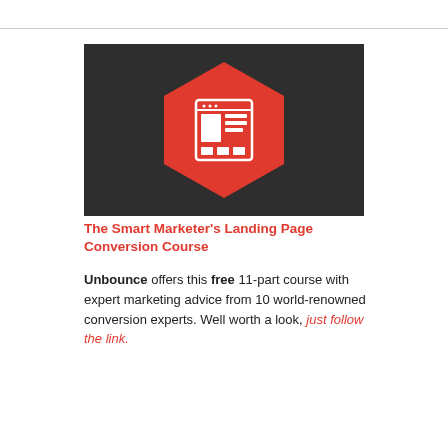[Figure (logo): Dark background image with a large red hexagon containing a white browser/landing page icon (window with content blocks)]
The Smart Marketer's Landing Page Conversion Course
Unbounce offers this free 11-part course with expert marketing advice from 10 world-renowned conversion experts. Well worth a look, just follow the link.